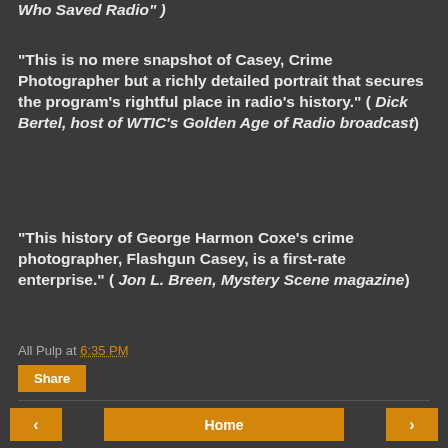Who Saved Radio" )
"This is no mere snapshot of Casey, Crime Photographer but a richly detailed portrait that secures the program's rightful place in radio's history." ( Dick Bertel, host of WTIC's Golden Age of Radio broadcast)
"This history of George Harmon Coxe's crime photographer, Flashgun Casey, is a first-rate enterprise." ( Jon L. Breen, Mystery Scene magazine)
All Pulp at 6:35 PM
Share
Home | View web version | Powered by Blogger.